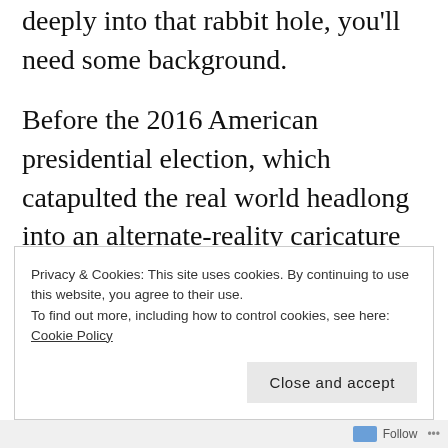deeply into that rabbit hole, you'll need some background.
Before the 2016 American presidential election, which catapulted the real world headlong into an alternate-reality caricature of itself, Stick Chick had a gripe about American trade with China and was pleased to hear candidates talk about renegotiating deals.
Privacy & Cookies: This site uses cookies. By continuing to use this website, you agree to their use.
To find out more, including how to control cookies, see here: Cookie Policy
Follow